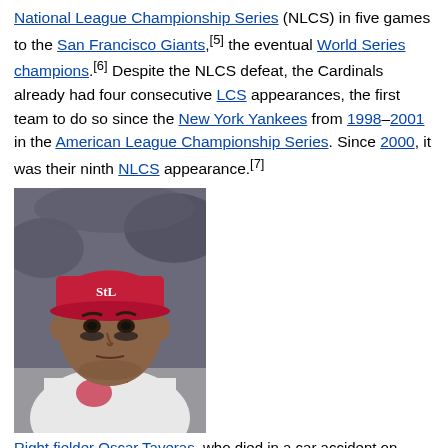National League Championship Series (NLCS) in five games to the San Francisco Giants,[5] the eventual World Series champions.[6] Despite the NLCS defeat, the Cardinals already had four consecutive LCS appearances, the first team to do so since the New York Yankees from 1998–2001 in the American League Championship Series. Since 2000, it was their ninth NLCS appearance.[7]
[Figure (photo): Photo of Oscar Taveras, a Cardinals right fielder, wearing a red Cardinals cap and white uniform, looking to the side.]
Right fielder Oscar Taveras, who died in a car accident on October 26, 2014
He was part of baseball's Major League Baseball's 2014-15 off...